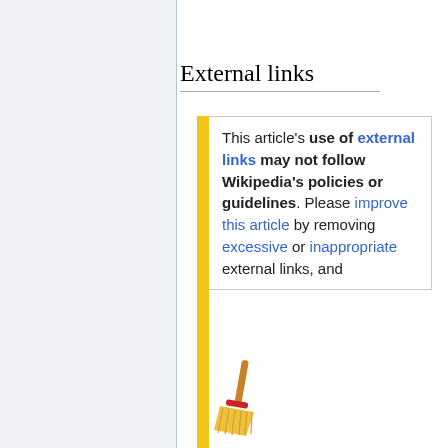External links
This article's use of external links may not follow Wikipedia's policies or guidelines. Please improve this article by removing excessive or inappropriate external links, and